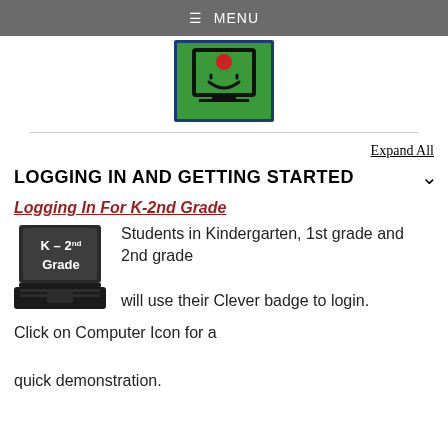≡ MENU
[Figure (logo): A cartoon-style logo with a green background, showing a simple face with a red nose and a computer/TV screen outline, with a blue border.]
Expand All
LOGGING IN AND GETTING STARTED
Logging In For K-2nd Grade
[Figure (illustration): An illustration of a dark laptop computer with text on the screen reading 'K – 2nd Grade'.]
Students in Kindergarten, 1st grade and 2nd grade will use their Clever badge to login.
Click on Computer Icon for a quick demonstration.